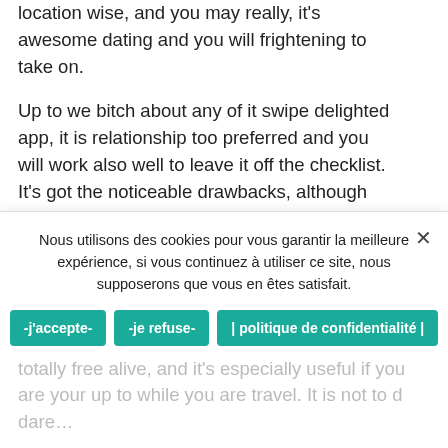location wise, and you may really, it's awesome dating and you will frightening to take on.

Up to we bitch about any of it swipe delighted app, it is relationship too preferred and you will work also well to leave it off the checklist. It's got the noticeable drawbacks, although sites friendliness, quick connecting, and you may substantial possible are pond create really people's very first entirely options after they need a fast hook otherwise rely on-boosting desire. If you like it or think it is trash, it will be one of the recommended on the predictable 100 % free, and those are merely factors. Someone matchmaking the mother is found on Tinder, plus the any variety of individuals made you will never...
Nous utilisons des cookies pour vous garantir la meilleure expérience, si vous continuez à utiliser ce site, nous supposerons que vous en êtes satisfait.
-j'accepte-
-je refuse-
| politique de confidentialité |
totally free alive, and it's especially useful if you are your up to while you are travel. It is not to d dare...